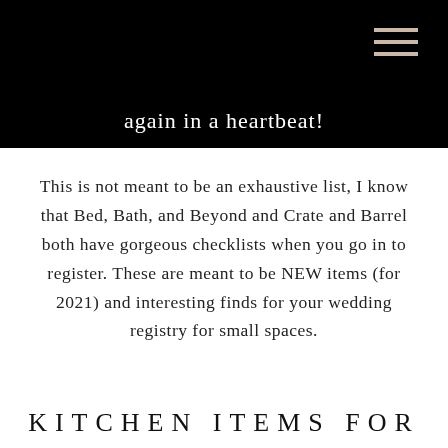again in a heartbeat!
This is not meant to be an exhaustive list, I know that Bed, Bath, and Beyond and Crate and Barrel both have gorgeous checklists when you go in to register. These are meant to be NEW items (for 2021) and interesting finds for your wedding registry for small spaces.
KITCHEN ITEMS FOR